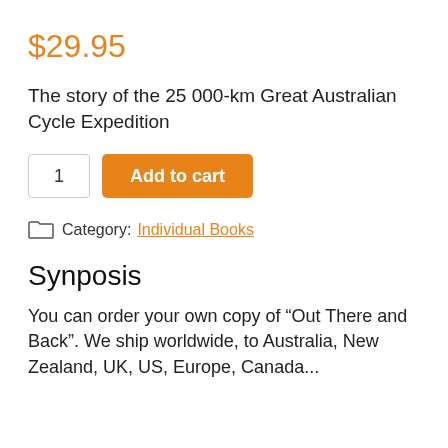$29.95
The story of the 25 000-km Great Australian Cycle Expedition
1  Add to cart
Category: Individual Books
Synposis
You can order your own copy of “Out There and Back”. We ship worldwide, to Australia, New Zealand, UK, US, Europe, Canada...